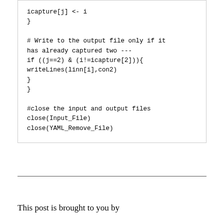icapture[j] <- i
}

# Write to the output file only if it has already captured two ---
if ((j==2) & (i!=icapture[2])){
writeLines(linn[i],con2)
}
}

#close the input and output files
close(Input_File)
close(YAML_Remove_File)
This post is brought to you by